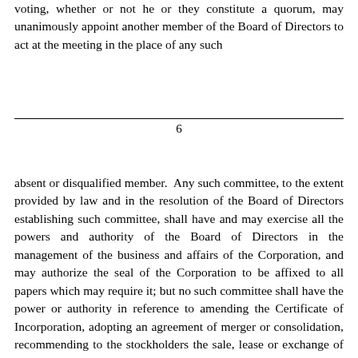voting, whether or not he or they constitute a quorum, may unanimously appoint another member of the Board of Directors to act at the meeting in the place of any such
6
absent or disqualified member.  Any such committee, to the extent provided by law and in the resolution of the Board of Directors establishing such committee, shall have and may exercise all the powers and authority of the Board of Directors in the management of the business and affairs of the Corporation, and may authorize the seal of the Corporation to be affixed to all papers which may require it; but no such committee shall have the power or authority in reference to amending the Certificate of Incorporation, adopting an agreement of merger or consolidation, recommending to the stockholders the sale, lease or exchange of all or substantially all of the Corporation's property and assets, recommending to the stockholders a dissolution of the Corporation or a revocation of a dissolution or amending the Bylaws of the Corporation; and, unless the resolution expressly so provides, no such committee shall have the power or authority to declare a dividend or to authorize the issuance of stock or to adopt a certificate of ownership and